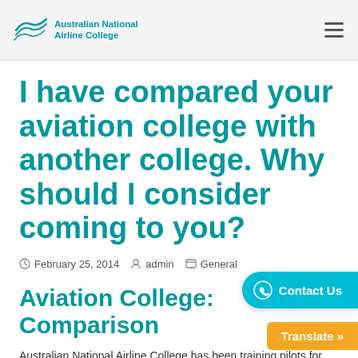Australian National Airline College
I have compared your aviation college with another college. Why should I consider coming to you?
February 25, 2014   admin   General
Aviation College: Comparison
Australian National Airline College has been training pilots for over 25 years and has earned a worldwide re...